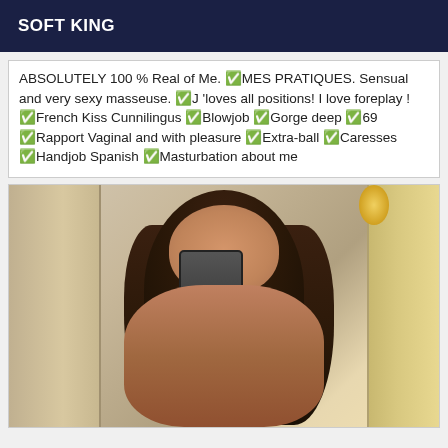SOFT KING
ABSOLUTELY 100 % Real of Me. ✅MES PRATIQUES. Sensual and very sexy masseuse. ✅J 'loves all positions! I love foreplay ! ✅French Kiss Cunnilingus ✅Blowjob ✅Gorge deep ✅69 ✅Rapport Vaginal and with pleasure ✅Extra-ball ✅Caresses ✅Handjob Spanish ✅Masturbation about me
[Figure (photo): Mirror selfie of a woman with long dark brown wavy hair holding a smartphone up to her face, taken indoors near a doorway with warm lighting on the right side.]